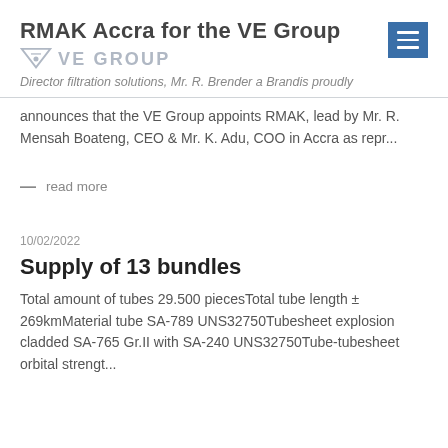RMAK Accra for the VE Group
[Figure (logo): VE Group logo with downward-pointing triangle and text VE GROUP]
Director filtration solutions, Mr. R. Brender a Brandis proudly
announces that the VE Group appoints RMAK, lead by Mr. R. Mensah Boateng, CEO & Mr. K. Adu, COO in Accra as repr...
— read more
10/02/2022
Supply of 13 bundles
Total amount of tubes 29.500 piecesTotal tube length ± 269kmMaterial tube SA-789 UNS32750Tubesheet explosion cladded SA-765 Gr.II with SA-240 UNS32750Tube-tubesheet orbital strengt...